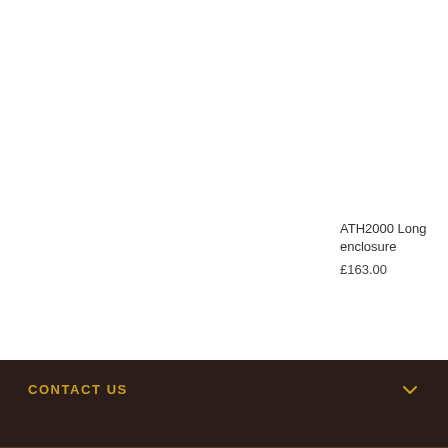ATH2000 Long enclosure
£163.00
CONTACT US